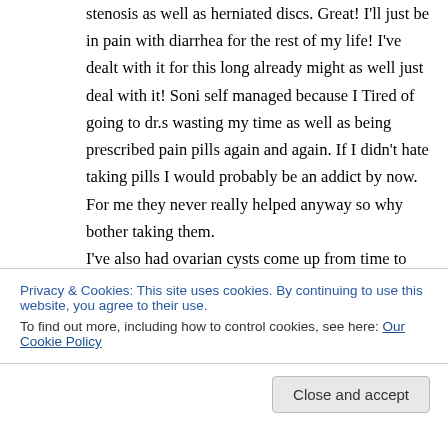stenosis as well as herniated discs. Great! I'll just be in pain with diarrhea for the rest of my life! I've dealt with it for this long already might as well just deal with it! Soni self managed because I Tired of going to dr.s wasting my time as well as being prescribed pain pills again and again. If I didn't hate taking pills I would probably be an addict by now. For me they never really helped anyway so why bother taking them. I've also had ovarian cysts come up from time to time and kept being told it's normal it happened
Privacy & Cookies: This site uses cookies. By continuing to use this website, you agree to their use.
To find out more, including how to control cookies, see here: Our Cookie Policy
Close and accept
they again said nothing to worry about.